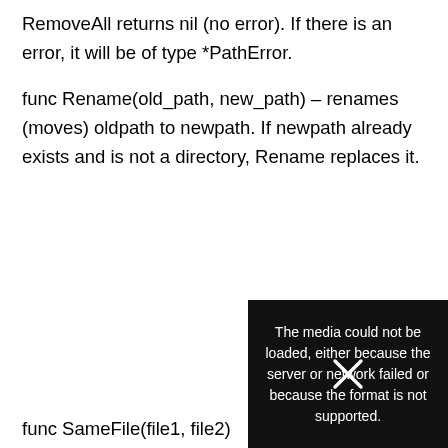RemoveAll returns nil (no error). If there is an error, it will be of type *PathError.
func Rename(old_path, new_path) – renames (moves) oldpath to newpath. If newpath already exists and is not a directory, Rename replaces it.
func SameFile(file1, file2)
[Figure (screenshot): Media error overlay popup with black background showing text: 'The media could not be loaded, either because the server or network failed or because the format is not supported.' with an X close button in the top-right corner of the overlay.]